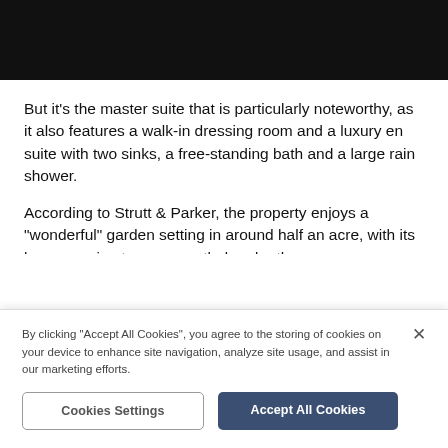[Figure (photo): Dark/black image header area at top of page]
But it's the master suite that is particularly noteworthy, as it also features a walk-in dressing room and a luxury en suite with two sinks, a free-standing bath and a large rain shower.
According to Strutt & Parker, the property enjoys a "wonderful" garden setting in around half an acre, with its large evening terrace, nestled under the neighbouring church, providing ample al fresco dining
By clicking "Accept All Cookies", you agree to the storing of cookies on your device to enhance site navigation, analyze site usage, and assist in our marketing efforts.
Cookies Settings
Accept All Cookies